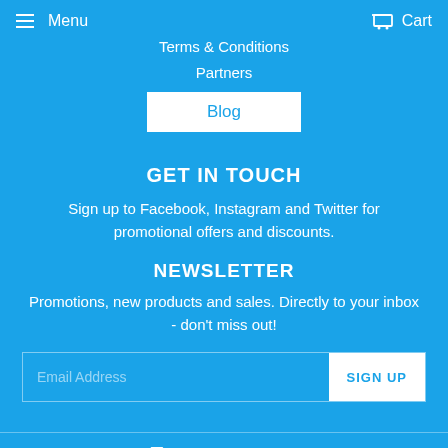Menu  Cart
Terms & Conditions
Partners
Blog
GET IN TOUCH
Sign up to Facebook, Instagram and Twitter for promotional offers and discounts.
NEWSLETTER
Promotions, new products and sales. Directly to your inbox - don't miss out!
Email Address  SIGN UP
[Figure (other): Social media icons: Twitter, Facebook, Pinterest, Instagram]